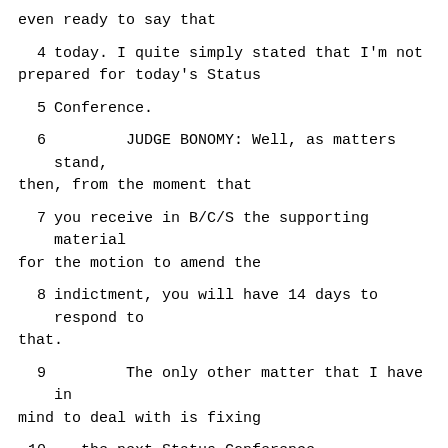even ready to say that
4     today.  I quite simply stated that I'm not prepared for today's Status
5     Conference.
6           JUDGE BONOMY:  Well, as matters stand, then, from the moment that
7     you receive in B/C/S the supporting material for the motion to amend the
8     indictment, you will have 14 days to respond to that.
9           The only other matter that I have in mind to deal with is fixing
10    the next Status Conference.